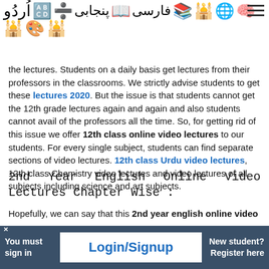Navigation header with icons for Urdu, alphabet, calculator, Punjabi, reading, Farsi, books, mosque, globe, brain, and hamburger menu
the lectures. Students on a daily basis get lectures from their professors in the classrooms. We strictly advise students to get these lectures 2020. But the issue is that students cannot get the 12th grade lectures again and again and also students cannot avail of the professors all the time. So, for getting rid of this issue we offer 12th class online video lectures to our students. For every single subject, students can find separate sections of video lectures. 12th class Urdu video lectures, 12th class Chemistry video lectures and video lectures of all subjects including science and art subjects.
2nd Year English Online Video Lectures Chapter Wise :
Hopefully, we can say that this 2nd year english online video
You must sign in   Login/Signup   New student? Register here